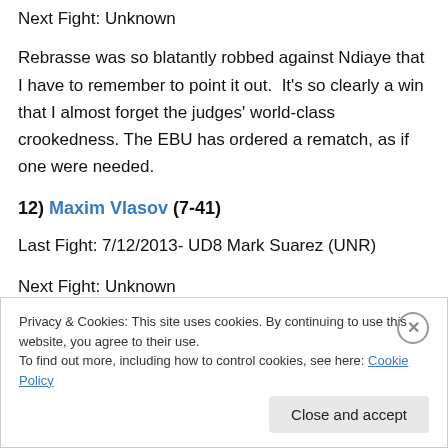Next Fight: Unknown
Rebrasse was so blatantly robbed against Ndiaye that I have to remember to point it out. It's so clearly a win that I almost forget the judges' world-class crookedness. The EBU has ordered a rematch, as if one were needed.
12) Maxim Vlasov (7-41)
Last Fight: 7/12/2013- UD8 Mark Suarez (UNR)
Next Fight: Unknown
Privacy & Cookies: This site uses cookies. By continuing to use this website, you agree to their use.
To find out more, including how to control cookies, see here: Cookie Policy